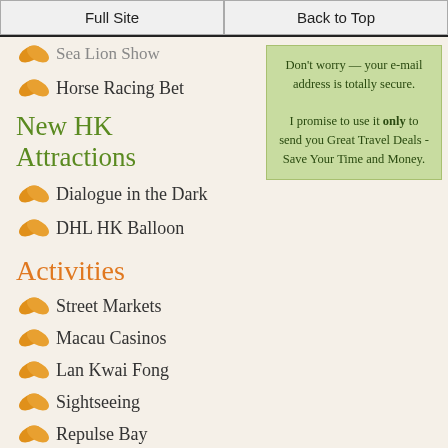Full Site | Back to Top
Sea Lion Show
Horse Racing Bet
Don't worry — your e-mail address is totally secure. I promise to use it only to send you Great Travel Deals - Save Your Time and Money.
New HK Attractions
Dialogue in the Dark
DHL HK Balloon
Activities
Street Markets
Macau Casinos
Lan Kwai Fong
Sightseeing
Repulse Bay